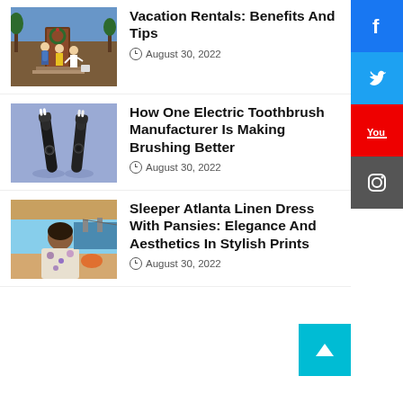[Figure (photo): People with luggage approaching a cabin door with wreath]
Vacation Rentals: Benefits And Tips
August 30, 2022
[Figure (photo): Two black electric toothbrushes on blue-purple surface]
How One Electric Toothbrush Manufacturer Is Making Brushing Better
August 30, 2022
[Figure (photo): Woman in linen dress at outdoor setting]
Sleeper Atlanta Linen Dress With Pansies: Elegance And Aesthetics In Stylish Prints
August 30, 2022